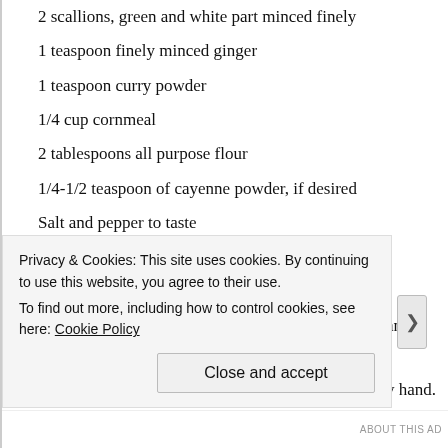2 scallions, green and white part minced finely
1 teaspoon finely minced ginger
1 teaspoon curry powder
1/4 cup cornmeal
2 tablespoons all purpose flour
1/4-1/2 teaspoon of cayenne powder, if desired
Salt and pepper to taste
Few tablespoons of oil to pan fry the fritters
Preparation
1) Squeeze excess water out of the grated zucchini and apple and add to a medium bowl.
2) Add in the remaining ingredients and mix well by hand. This
Privacy & Cookies: This site uses cookies. By continuing to use this website, you agree to their use.
To find out more, including how to control cookies, see here: Cookie Policy
Close and accept